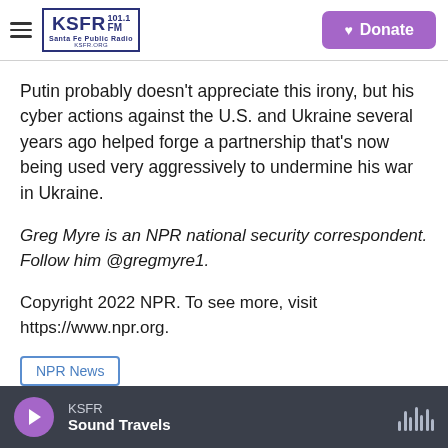KSFR 101.1 FM Santa Fe Public Radio | Donate
Putin probably doesn't appreciate this irony, but his cyber actions against the U.S. and Ukraine several years ago helped forge a partnership that's now being used very aggressively to undermine his war in Ukraine.
Greg Myre is an NPR national security correspondent. Follow him @gregmyre1.
Copyright 2022 NPR. To see more, visit https://www.npr.org.
NPR News
KSFR — Sound Travels